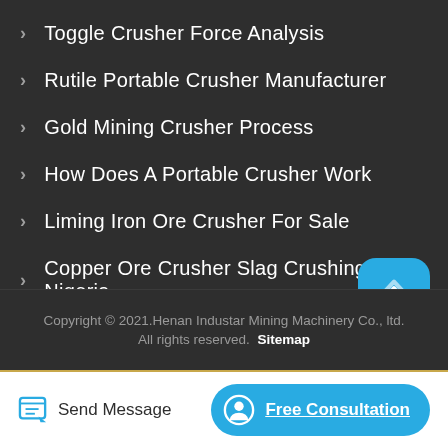Toggle Crusher Force Analysis
Rutile Portable Crusher Manufacturer
Gold Mining Crusher Process
How Does A Portable Crusher Work
Liming Iron Ore Crusher For Sale
Copper Ore Crusher Slag Crushing In Nigeria
Copyright © 2021.Henan Industar Mining Machinery Co., ltd. All rights reserved. Sitemap
Send Message
Free Consultation